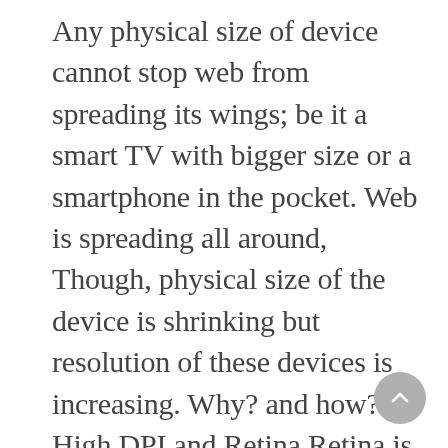Any physical size of device cannot stop web from spreading its wings; be it a smart TV with bigger size or a smartphone in the pocket. Web is spreading all around, Though, physical size of the device is shrinking but resolution of these devices is increasing. Why? and how? High DPI and Retina Retina is …
Continue reading